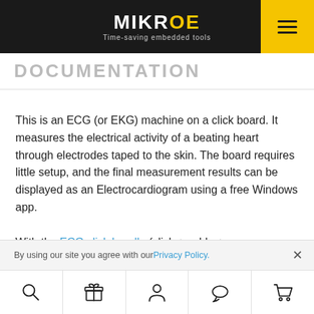MIKROE — Time-saving embedded tools
DOCUMENTATION
This is an ECG (or EKG) machine on a click board. It measures the electrical activity of a beating heart through electrodes taped to the skin. The board requires little setup, and the final measurement results can be displayed as an Electrocardiogram using a free Windows app.
With the ECG click bundle (click + cable +
By using our site you agree with our Privacy Policy.
Search | Gift | Account | Chat | Cart